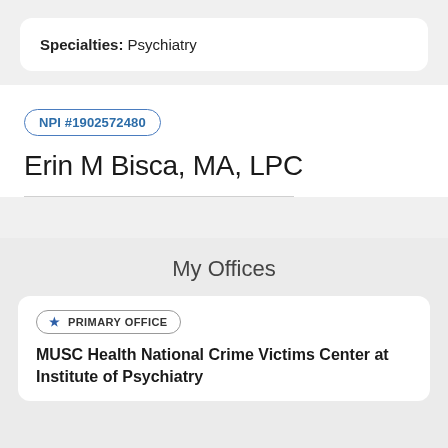Specialties: Psychiatry
NPI #1902572480
Erin M Bisca, MA, LPC
My Offices
★ PRIMARY OFFICE
MUSC Health National Crime Victims Center at Institute of Psychiatry